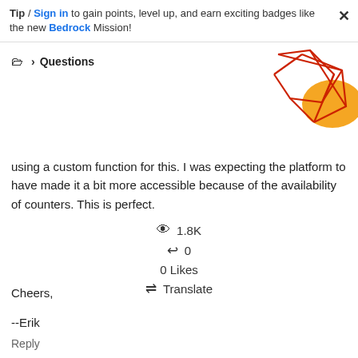Tip / Sign in to gain points, level up, and earn exciting badges like the new Bedrock Mission!
Questions
[Figure (illustration): Decorative geometric graphic with red diamond/polygon shapes and an orange circle in the top-right corner]
using a custom function for this. I was expecting the platform to have made it a bit more accessible because of the availability of counters. This is perfect.
Cheers,
--Erik
1.8K
0
0 Likes
Translate
Reply